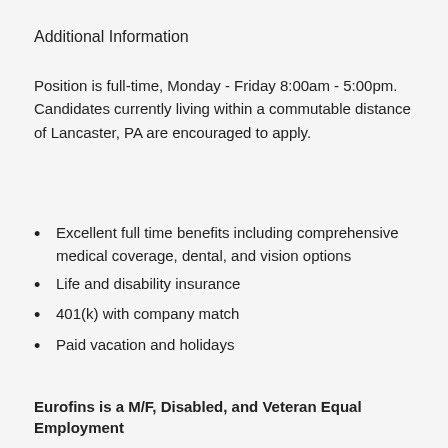Additional Information
Position is full-time, Monday - Friday 8:00am - 5:00pm. Candidates currently living within a commutable distance of Lancaster, PA are encouraged to apply.
Excellent full time benefits including comprehensive medical coverage, dental, and vision options
Life and disability insurance
401(k) with company match
Paid vacation and holidays
Eurofins is a M/F, Disabled, and Veteran Equal Employment